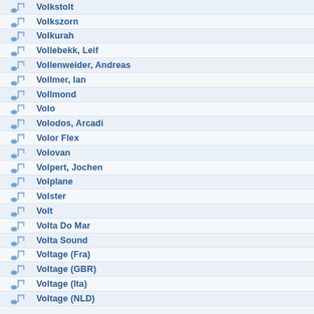Volkstolt
Volkszorn
Volkurah
Vollebekk, Leif
Vollenweider, Andreas
Vollmer, Ian
Vollmond
Volo
Volodos, Arcadi
Volor Flex
Volovan
Volpert, Jochen
Volplane
Volster
Volt
Volta Do Mar
Volta Sound
Voltage (Fra)
Voltage (GBR)
Voltage (Ita)
Voltage (NLD)